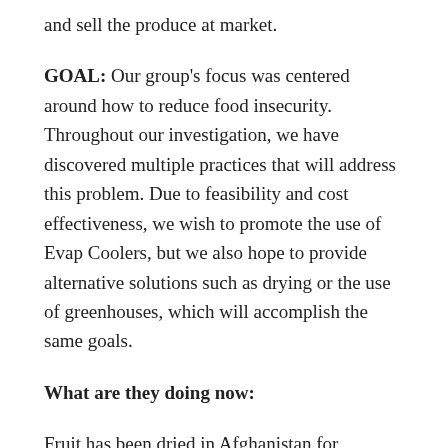and sell the produce at market.
GOAL: Our group's focus was centered around how to reduce food insecurity. Throughout our investigation, we have discovered multiple practices that will address this problem. Due to feasibility and cost effectiveness, we wish to promote the use of Evap Coolers, but we also hope to provide alternative solutions such as drying or the use of greenhouses, which will accomplish the same goals.
What are they doing now:
Fruit has been dried in Afghanistan for decades. In Kandahar city, the second largest city in Afghanistan, there are actually commercial facilities for drying